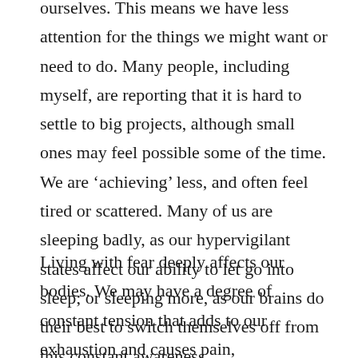ourselves. This means we have less attention for the things we might want or need to do. Many people, including myself, are reporting that it is hard to settle to big projects, although small ones may feel possible some of the time. We are ‘achieving’ less, and often feel tired or scattered. Many of us are sleeping badly, as our hypervigilant states affect our ability to let go into sleep; or sleeping more, as our brains do their best to switch themselves off from this constant awareness.
Living with fear deeply affects our bodies. We may have a degree of constant tension that adds to our exhaustion and causes pain, and maybe have tension still, as if to